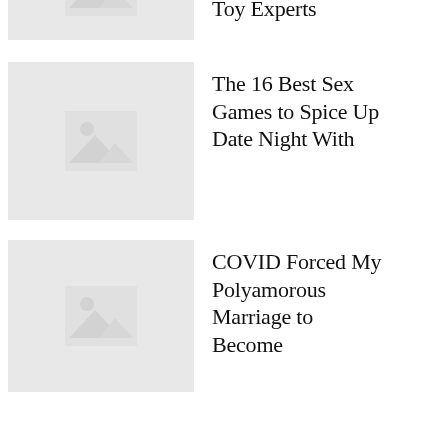[Figure (illustration): Placeholder image thumbnail with mountain/landscape icon]
Vibrators, According to Sex Toy Experts
[Figure (illustration): Placeholder image thumbnail with mountain/landscape icon]
The 16 Best Sex Games to Spice Up Date Night With
[Figure (illustration): Placeholder image thumbnail with mountain/landscape icon]
COVID Forced My Polyamorous Marriage to Become